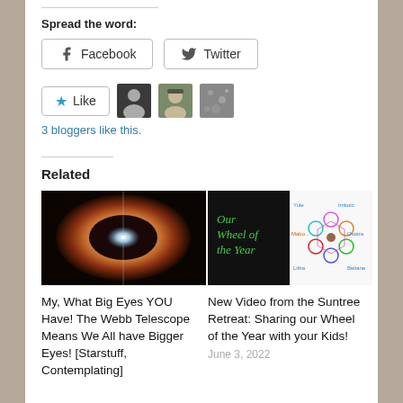Spread the word:
Facebook
Twitter
[Figure (other): Like button with star icon and three blogger avatar photos]
3 bloggers like this.
Related
[Figure (photo): Helix Nebula - eye-like nebula image from Webb telescope]
My, What Big Eyes YOU Have! The Webb Telescope Means We All have Bigger Eyes! [Starstuff, Contemplating]
[Figure (illustration): Wheel of the Year diagram with colorful circles and seasonal labels on black/white background]
New Video from the Suntree Retreat: Sharing our Wheel of the Year with your Kids!
June 3, 2022